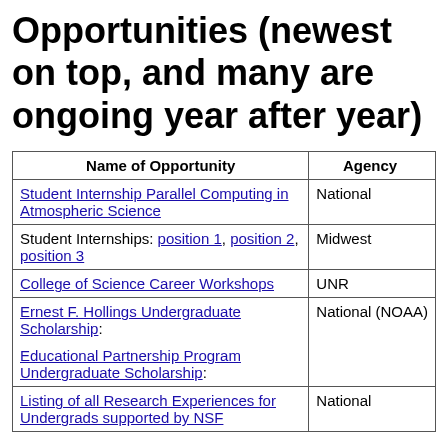Opportunities (newest on top, and many are ongoing year after year)
| Name of Opportunity | Agency |
| --- | --- |
| Student Internship Parallel Computing in Atmospheric Science | National |
| Student Internships: position 1, position 2, position 3 | Midwest |
| College of Science Career Workshops | UNR |
| Ernest F. Hollings Undergraduate Scholarship:
Educational Partnership Program Undergraduate Scholarship: | National (NOAA) |
| Listing of all Research Experiences for Undergrads supported by NSF | National |